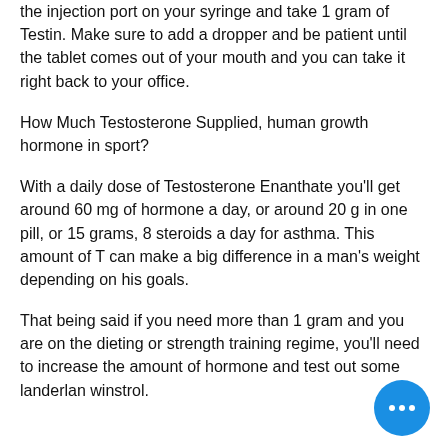the injection port on your syringe and take 1 gram of Testin. Make sure to add a dropper and be patient until the tablet comes out of your mouth and you can take it right back to your office.
How Much Testosterone Supplied, human growth hormone in sport?
With a daily dose of Testosterone Enanthate you'll get around 60 mg of hormone a day, or around 20 g in one pill, or 15 grams, 8 steroids a day for asthma. This amount of T can make a big difference in a man's weight depending on his goals.
That being said if you need more than 1 gram and you are on the dieting or strength training regime, you'll need to increase the amount of hormone and test out some landerlan winstrol.